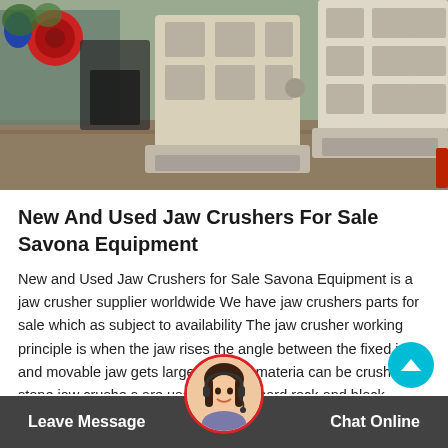[Figure (photo): Factory floor with jaw crushers and industrial equipment; large metal frame crusher components visible in a warehouse setting.]
New And Used Jaw Crushers For Sale Savona Equipment
New and Used Jaw Crushers for Sale Savona Equipment is a jaw crusher supplier worldwide We have jaw crushers parts for sale which as subject to availability The jaw crusher working principle is when the jaw rises the angle between the fixed jaw and movable jaw gets larger and the material can be crushed All stone jaw crushers are used to crush hard rock and block material
Leave Message   Chat Online